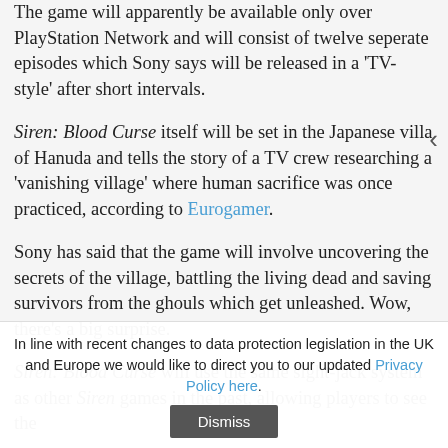The game will apparently be available only over PlayStation Network and will consist of twelve seperate episodes which Sony says will be released in a 'TV-style' after short intervals.
Siren: Blood Curse itself will be set in the Japanese villa of Hanuda and tells the story of a TV crew researching a 'vanishing village' where human sacrifice was once practiced, according to Eurogamer.
Sony has said that the game will involve uncovering the secrets of the village, battling the living dead and saving survivors from the ghouls which get unleashed. Wow, there's a big surprise.
Siren: Blood Curse will use the same sight-jack system as other Siren games in the past, allowing players to see the
In line with recent changes to data protection legislation in the UK and Europe we would like to direct you to our updated Privacy Policy here.
Dismiss